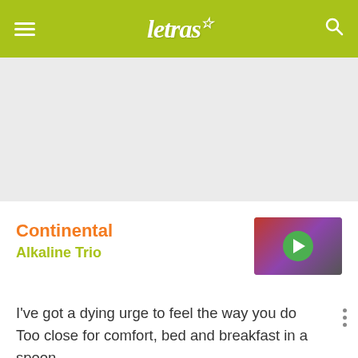letras☆
Continental
Alkaline Trio
[Figure (photo): Video thumbnail showing two people with a green play button overlay]
I've got a dying urge to feel the way you do
Too close for comfort, bed and breakfast in a spoon
The shortest breath of your young life
A long walk home on Friday night
You made one last stop at the store